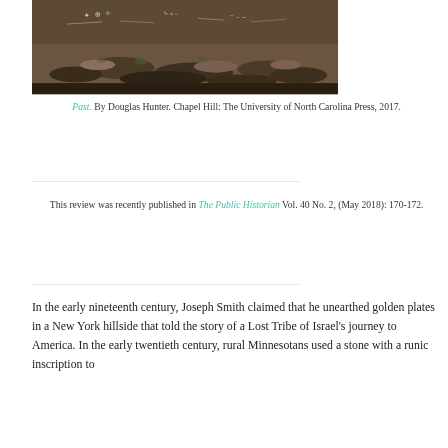[Figure (photo): Sepia-toned photograph showing a rocky hillside or cliff face with stones and rubble, partially covered with chalk or white markings/inscriptions.]
Past. By Douglas Hunter. Chapel Hill: The University of North Carolina Press, 2017.
This review was recently published in The Public Historian Vol. 40 No. 2, (May 2018): 170-172.
In the early nineteenth century, Joseph Smith claimed that he unearthed golden plates in a New York hillside that told the story of a Lost Tribe of Israel's journey to America. In the early twentieth century, rural Minnesotans used a stone with a runic inscription to